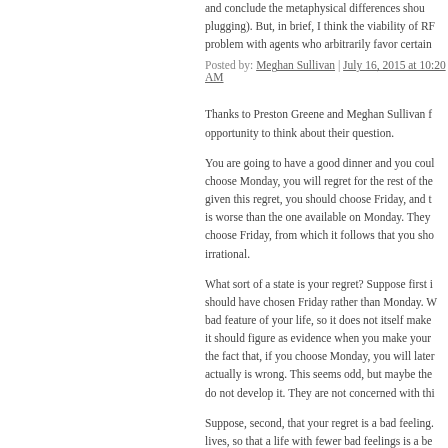and conclude the metaphysical differences shou... plugging). But, in brief, I think the viability of RF... problem with agents who arbitrarily favor certain...
Posted by: Meghan Sullivan | July 16, 2015 at 10:20 AM
Thanks to Preston Greene and Meghan Sullivan f... opportunity to think about their question.
You are going to have a good dinner and you coul... choose Monday, you will regret for the rest of the... given this regret, you should choose Friday, and t... is worse than the one available on Monday. They... choose Friday, from which it follows that you sho... irrational.
What sort of a state is your regret? Suppose first i... should have chosen Friday rather than Monday. W... bad feature of your life, so it does not itself make... it should figure as evidence when you make your... the fact that, if you choose Monday, you will later... actually is wrong. This seems odd, but maybe the... do not develop it. They are not concerned with thi...
Suppose, second, that your regret is a bad feeling.... lives, so that a life with fewer bad feelings is a be... be better if you choose Friday. So you should cho... good as the one available on Monday, the badness... outweigh the difference. In that case, too, you sho...